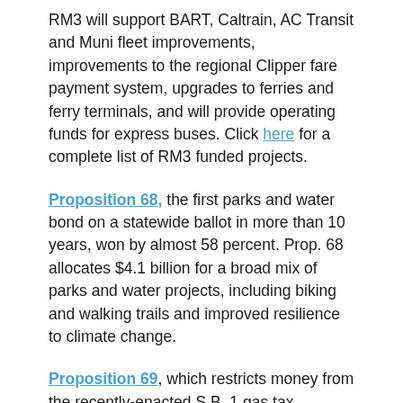RM3 will support BART, Caltrain, AC Transit and Muni fleet improvements, improvements to the regional Clipper fare payment system, upgrades to ferries and ferry terminals, and will provide operating funds for express buses. Click here for a complete list of RM3 funded projects.
Proposition 68, the first parks and water bond on a statewide ballot in more than 10 years, won by almost 58 percent. Prop. 68 allocates $4.1 billion for a broad mix of parks and water projects, including biking and walking trails and improved resilience to climate change.
Proposition 69, which restricts money from the recently-enacted S.B. 1 gas tax increase to be set aside strictly for transportation purposes, passed by a whopping 81 percent. Hopefully, the measure's passage will help deflate the current effort to repeal the gas tax.